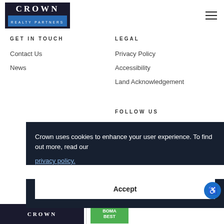[Figure (logo): Crown Realty Partners logo — dark navy background with CROWN in serif white letters and REALTY PARTNERS on a blue bar beneath]
GET IN TOUCH
Contact Us
News
LEGAL
Privacy Policy
Accessibility
Land Acknowledgement
FOLLOW US
Crown uses cookies to enhance your user experience. To find out more, read our privacy policy.
Accept
[Figure (logo): Crown Realty Partners footer logo on dark background]
[Figure (logo): Green certification badge in footer]